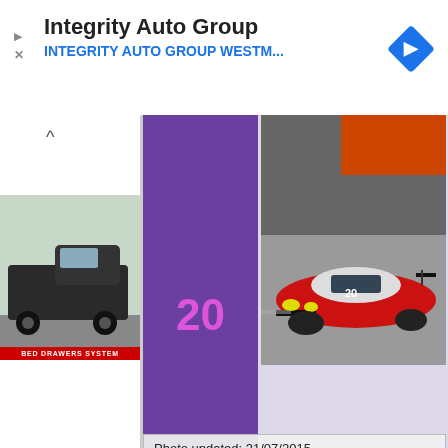[Figure (screenshot): Top advertisement banner for Integrity Auto Group with blue text link and blue diamond navigation icon]
Integrity Auto Group
INTEGRITY AUTO GROUP WESTM...
[Figure (screenshot): Left panel showing Chevrolet truck photo with BED DRAWERS SYSTEM red banner and chevron up arrow]
[Figure (screenshot): Racing car photo section with purple strip showing number 20 and red Ferrari race car photo]
Photo updated: 31/07/2015
[Figure (screenshot): Bottom advertisement banner: ESCAPE TO SUN VALLEY with BOOK NOW button and Sun Valley logo]